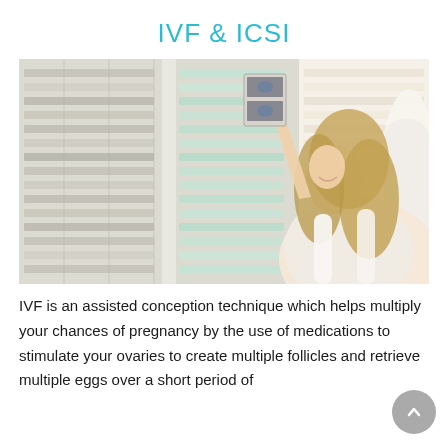IVF & ICSI
[Figure (photo): A smiling woman with long blonde hair sitting in a white chair, holding up ultrasound scan images toward a window with white shutters. She appears to be pregnant or reviewing pregnancy scans.]
IVF is an assisted conception technique which helps multiply your chances of pregnancy by the use of medications to stimulate your ovaries to create multiple follicles and retrieve multiple eggs over a short period of